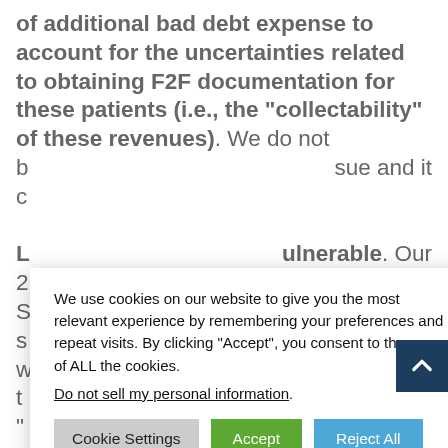of additional bad debt expense to account for the uncertainties related to obtaining F2F documentation for these patients (i.e., the "collectability" of these revenues). We do not b... sue and it c... L... ulnerable. Our 2... 0% below the S... roposal s... n mid-July, w... all providers t... he F2F "... eserves as providers are struggling to get documentation for patients that meet the encounter requirement. Home health stocks likely oscillate near 10x
Cookie banner: We use cookies on our website to give you the most relevant experience by remembering your preferences and repeat visits. By clicking "Accept", you consent to the use of ALL the cookies. Do not sell my personal information. [Cookie Settings] [Accept] [Reject All]